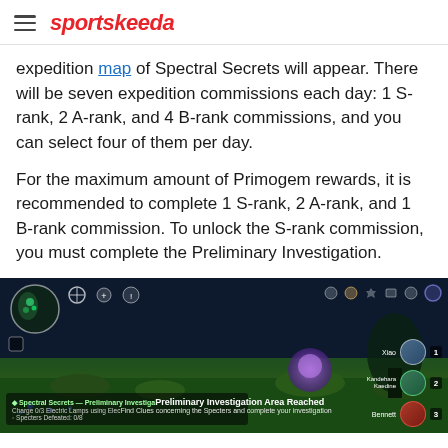sportskeeda
expedition map of Spectral Secrets will appear. There will be seven expedition commissions each day: 1 S-rank, 2 A-rank, and 4 B-rank commissions, and you can select four of them per day.
For the maximum amount of Primogem rewards, it is recommended to complete 1 S-rank, 2 A-rank, and 1 B-rank commission. To unlock the S-rank commission, you must complete the Preliminary Investigation.
[Figure (screenshot): In-game screenshot from Genshin Impact showing the Preliminary Investigation Area Reached notification in Spectral Secrets event. The quest log on the left shows 'Spectral Secrets — Preliminary Investigation', 'Charge 0/3 Electric Lamps using Electro', 'Specters Defeated: 0/8'. Center notification reads 'Preliminary Investigation Area Reached' and 'Find Clues concerning the Specters and complete your investigation'. Party members Xiao, Kandehara Kaedine, Bennett are shown on the right side.]